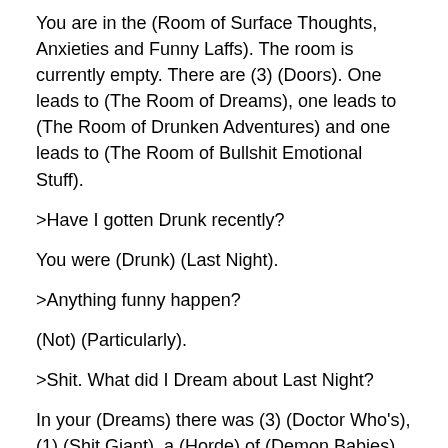You are in the (Room of Surface Thoughts, Anxieties and Funny Laffs). The room is currently empty. There are (3) (Doors). One leads to (The Room of Dreams), one leads to (The Room of Drunken Adventures) and one leads to (The Room of Bullshit Emotional Stuff).
>Have I gotten Drunk recently?
You were (Drunk) (Last Night).
>Anything funny happen?
(Not) (Particularly).
>Shit. What did I Dream about Last Night?
In your (Dreams) there was (3) (Doctor Who's), (1) (Shit Giant), a (Horde) of (Demon Babies), several (Shark Traps), (2) (Portals) to (Hell), (1) (Swordfight) and a very